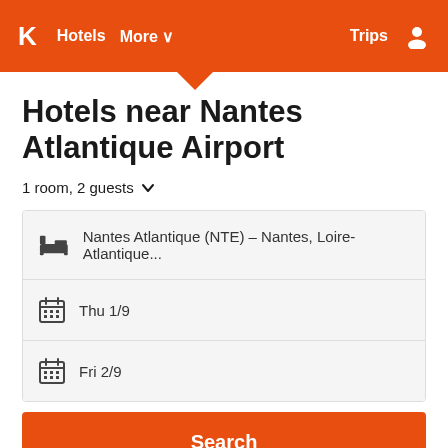K  Hotels  More  Trips
Hotels near Nantes Atlantique Airport
1 room, 2 guests
Nantes Atlantique (NTE) - Nantes, Loire-Atlantique...
Thu 1/9
Fri 2/9
Search